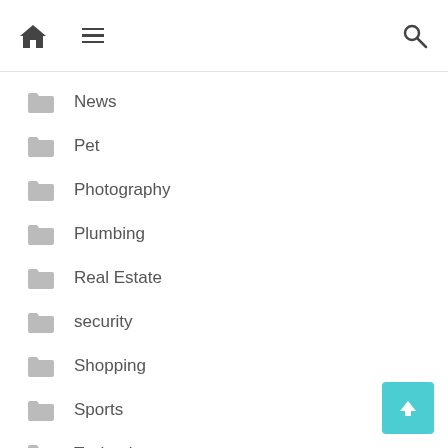Navigation bar with home, menu, and search icons
News
Pet
Photography
Plumbing
Real Estate
security
Shopping
Sports
Technology
Travel
Uncategorized